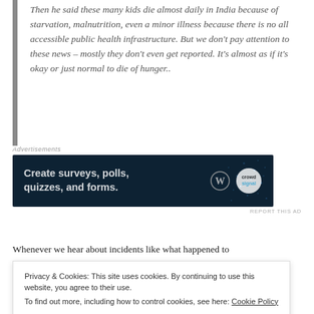Then he said these many kids die almost daily in India because of starvation, malnutrition, even a minor illness because there is no all accessible public health infrastructure. But we don't pay attention to these news – mostly they don't even get reported. It's almost as if it's okay or just normal to die of hunger..
[Figure (other): Advertisement banner with dark navy background reading 'Create surveys, polls, quizzes, and forms.' with WordPress and Crowdsignal logos]
Whenever we hear about incidents like what happened to
Privacy & Cookies: This site uses cookies. By continuing to use this website, you agree to their use. To find out more, including how to control cookies, see here: Cookie Policy